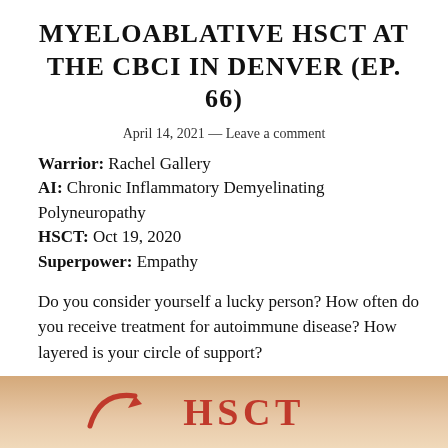MYELOABLATIVE HSCT AT THE CBCI IN DENVER (EP. 66)
April 14, 2021 — Leave a comment
Warrior: Rachel Gallery
AI: Chronic Inflammatory Demyelinating Polyneuropathy
HSCT: Oct 19, 2020
Superpower: Empathy
Do you consider yourself a lucky person? How often do you receive treatment for autoimmune disease? How layered is your circle of support?
[Figure (logo): Partial image at bottom showing HSCT logo with red arrow and red text 'HSCT' on a warm tan/peach background]